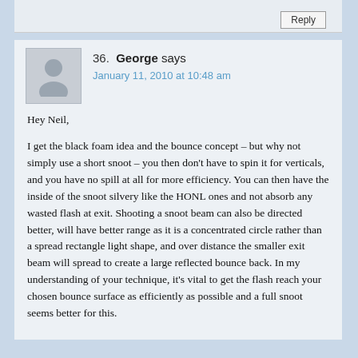Reply
36. George says
January 11, 2010 at 10:48 am
Hey Neil,

I get the black foam idea and the bounce concept – but why not simply use a short snoot – you then don't have to spin it for verticals, and you have no spill at all for more efficiency. You can then have the inside of the snoot silvery like the HONL ones and not absorb any wasted flash at exit. Shooting a snoot beam can also be directed better, will have better range as it is a concentrated circle rather than a spread rectangle light shape, and over distance the smaller exit beam will spread to create a large reflected bounce back. In my understanding of your technique, it's vital to get the flash reach your chosen bounce surface as efficiently as possible and a full snoot seems better for this.